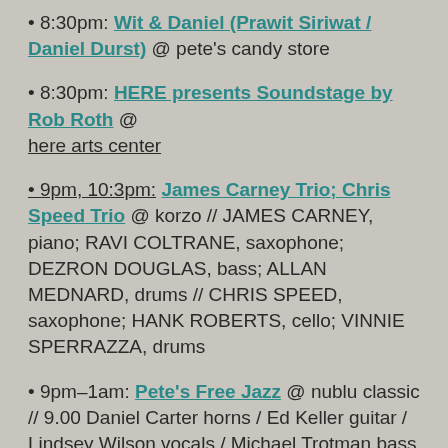• 8:30pm: Wit & Daniel (Prawit Siriwat / Daniel Durst) @ pete's candy store
• 8:30pm: HERE presents Soundstage by Rob Roth @ here arts center
• 9pm, 10:3pm: James Carney Trio; Chris Speed Trio @ korzo // JAMES CARNEY, piano; RAVI COLTRANE, saxophone; DEZRON DOUGLAS, bass; ALLAN MEDNARD, drums // CHRIS SPEED, saxophone; HANK ROBERTS, cello; VINNIE SPERRAZZA, drums
• 9pm–1am: Pete's Free Jazz @ nublu classic // 9.00 Daniel Carter horns / Ed Keller guitar / Lindsey Wilson vocals / Michael Trotman bass / Reggie